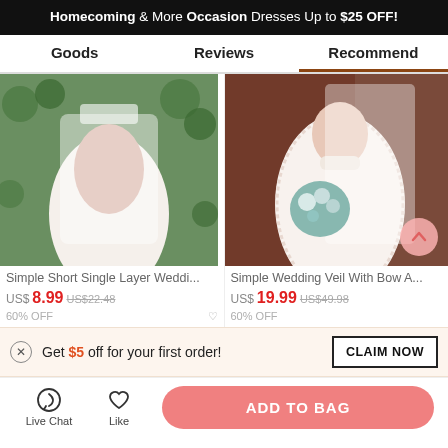Homecoming & More Occasion Dresses Up to $25 OFF!
Goods | Reviews | Recommend
[Figure (photo): Back view of a bride in a white single-layer wedding veil and backless dress against green hedge background]
[Figure (photo): Front view of a bride in white lace high-neck dress holding a blue and white bouquet, with a white veil]
Simple Short Single Layer Weddi...
US$8.99  US$22.48
60% OFF
Simple Wedding Veil With Bow A...
US$19.99  US$49.98
60% OFF
Get $5 off for your first order!
Live Chat  Like  ADD TO BAG